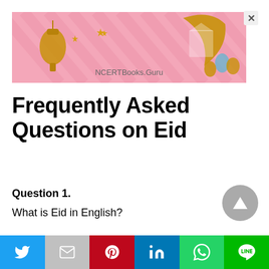[Figure (illustration): Pink striped Eid advertisement banner with gold crescent moon, lanterns, and stars. Text reads NCERTBooks.Guru]
Frequently Asked Questions on Eid
Question 1.
What is Eid in English?